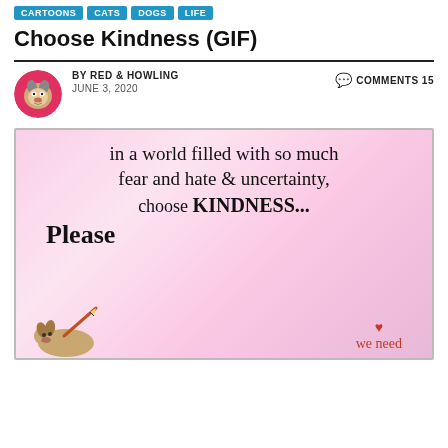CARTOONS | CATS | DOGS | LIFE
Choose Kindness (GIF)
BY RED & HOWLING
JUNE 3, 2020

COMMENTS 15
[Figure (illustration): Illustrated image with pink watercolor background. Text reads: 'in a world filled with so much fear and hate & uncertainty, choose KINDNESS... Please' with a cartoon dog drawing a pencil sketch and the words 'we need' in red with a heart.]